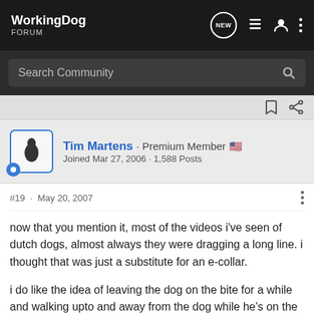WorkingDog FORUM
Search Community
Tim Martens · Premium Member 🇺🇸 Joined Mar 27, 2006 · 1,588 Posts
#19 · May 20, 2007
now that you mention it, most of the videos i've seen of dutch dogs, almost always they were dragging a long line. i thought that was just a substitute for an e-collar.

i do like the idea of leaving the dog on the bite for a while and walking upto and away from the dog while he's on the bite, which i'm sure also goes with varying the distance at which you are from the dog when you out him.